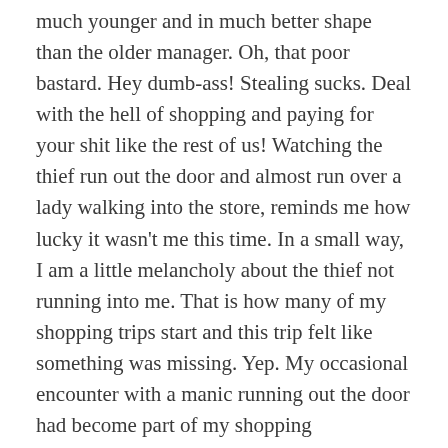much younger and in much better shape than the older manager. Oh, that poor bastard. Hey dumb-ass! Stealing sucks. Deal with the hell of shopping and paying for your shit like the rest of us! Watching the thief run out the door and almost run over a lady walking into the store, reminds me how lucky it wasn't me this time. In a small way, I am a little melancholy about the thief not running into me. That is how many of my shopping trips start and this trip felt like something was missing. Yep. My occasional encounter with a manic running out the door had become part of my shopping experiences that I had come to expect. Oh well. At least the other shopper got her nerves revved up for her shopping experience. She will need the extra adrenaline to survive her trip in big box hell.
I make it to my car, put my cart into the cart corral (no